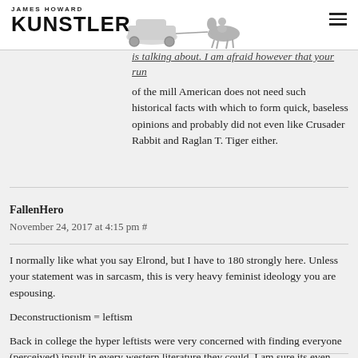JAMES HOWARD KUNSTLER
studied these military actions extensively as m... Academy and already from his training that knows what he is talking about. I am afraid however that your run of the mill American does not need such historical facts with which to form quick, baseless opinions and probably did not even like Crusader Rabbit and Raglan T. Tiger either.
FallenHero
November 24, 2017 at 4:15 pm #
I normally like what you say Elrond, but I have to 180 strongly here. Unless your statement was in sarcasm, this is very heavy feminist ideology you are espousing.

Deconstructionism = leftism

Back in college the hyper leftists were very concerned with finding everyone (perceived) insult in every western literature they could. I am sure its even worse now.